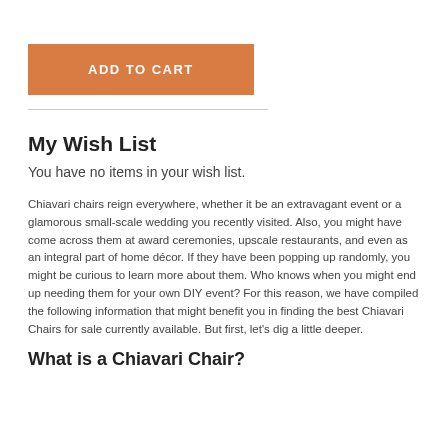[Figure (other): Orange 'ADD TO CART' button]
My Wish List
You have no items in your wish list.
Chiavari chairs reign everywhere, whether it be an extravagant event or a glamorous small-scale wedding you recently visited. Also, you might have come across them at award ceremonies, upscale restaurants, and even as an integral part of home décor. If they have been popping up randomly, you might be curious to learn more about them. Who knows when you might end up needing them for your own DIY event? For this reason, we have compiled the following information that might benefit you in finding the best Chiavari Chairs for sale currently available. But first, let's dig a little deeper.
What is a Chiavari Chair?